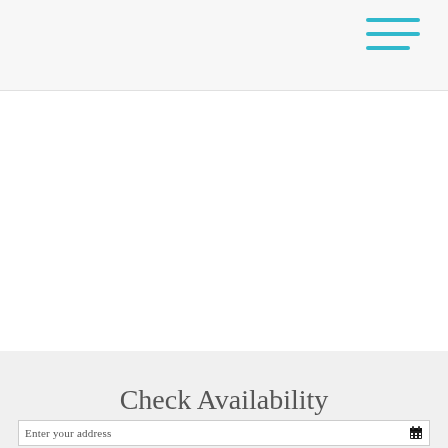[Figure (other): Navigation hamburger menu icon made of three horizontal cyan/teal lines in the top-right header area]
Check Availability
Enter your address